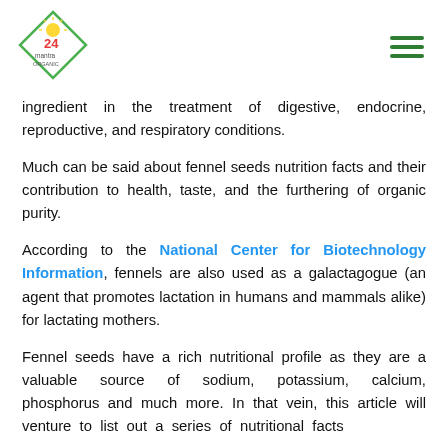24 Mantra Organic logo and navigation
ingredient in the treatment of digestive, endocrine, reproductive, and respiratory conditions.
Much can be said about fennel seeds nutrition facts and their contribution to health, taste, and the furthering of organic purity.
According to the National Center for Biotechnology Information, fennels are also used as a galactagogue (an agent that promotes lactation in humans and mammals alike) for lactating mothers.
Fennel seeds have a rich nutritional profile as they are a valuable source of sodium, potassium, calcium, phosphorus and much more. In that vein, this article will venture to list out a series of nutritional facts